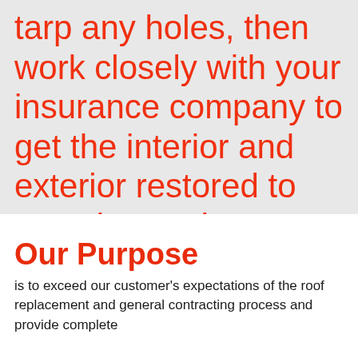tarp any holes, then work closely with your insurance company to get the interior and exterior restored to even better than before.
Our Purpose
is to exceed our customer's expectations of the roof replacement and general contracting process and provide complete